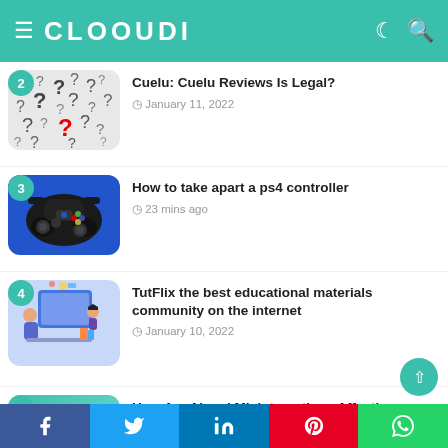CLOOUDI
2. Cuelu: Cuelu Reviews Is Legal? — January 11, 2022
3. How to take apart a ps4 controller — 23 mins ago
4. TutFlix the best educational materials community on the internet — January 10, 2022
5. How Are AI and ML Interactions Affecting Humans? — January 7, 2022
Facebook  Twitter  LinkedIn  Pinterest  WhatsApp